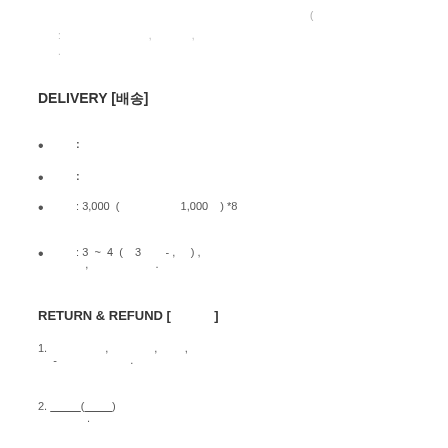(
:                    ,        ,
.
DELIVERY [배송]
:
:
: 3,000　(　　　　　　　　　1,000　　) *8
: 3 ~ 4 (　　3　　　　- ,　　　) ,　　　,　　　　　　　.
RETURN & REFUND [반품/환불]
1.　　　　　　　　　,　　　　　　　,　　　　　,　　- 　　　　　　　　　　　.
2. _________(________)　　　　　.